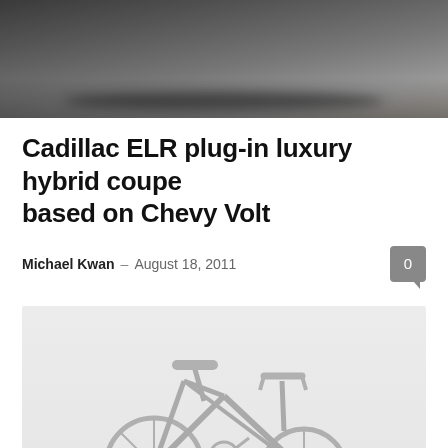[Figure (photo): Top portion of a dark-colored luxury car (Cadillac ELR), showing the lower front/hood area against a dark background]
Cadillac ELR plug-in luxury hybrid coupe based on Chevy Volt
Michael Kwan  -  August 18, 2011
[Figure (photo): A faded/washed-out image of a small child's tricycle on a light gray background]